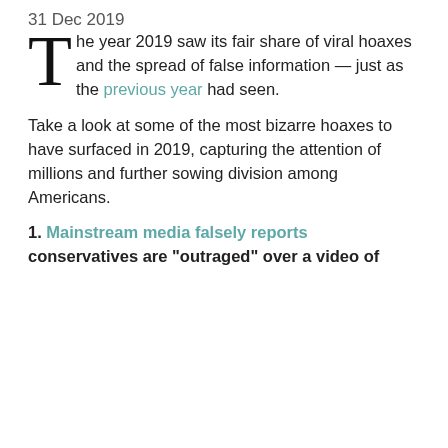31 Dec 2019
The year 2019 saw its fair share of viral hoaxes and the spread of false information — just as the previous year had seen.
Take a look at some of the most bizarre hoaxes to have surfaced in 2019, capturing the attention of millions and further sowing division among Americans.
1. Mainstream media falsely reports conservatives are "outraged" over a video of [continues]